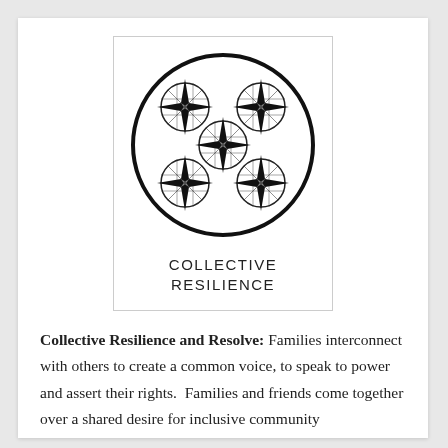[Figure (logo): Circular logo with interconnected grid-patterned circles and diamond/arrow shapes forming a flower-like pattern, inside a bold outer circle. Below the symbol are the words COLLECTIVE RESILIENCE in spaced capital letters.]
Collective Resilience and Resolve: Families interconnect with others to create a common voice, to speak to power and assert their rights.  Families and friends come together over a shared desire for inclusive community development.